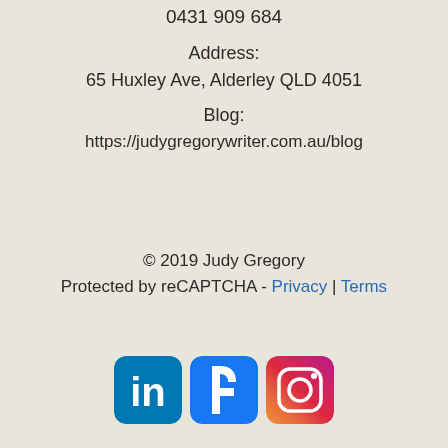0431 909 684
Address:
65 Huxley Ave, Alderley QLD 4051
Blog:
https://judygregorywriter.com.au/blog
© 2019 Judy Gregory
Protected by reCAPTCHA - Privacy | Terms
[Figure (other): LinkedIn, Facebook, and Instagram social media icons displayed in a row]